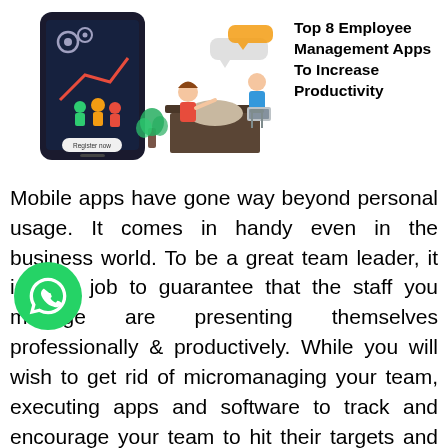[Figure (illustration): Composite illustration: left side shows a dark smartphone screen with gear/settings icons and people celebrating with 'Register now' button; right side shows an office scene with a woman at a reception desk, a person sitting with a laptop, chat bubbles above.]
Top 8 Employee Management Apps To Increase Productivity
Mobile apps have gone way beyond personal usage. It comes in handy even in the business world. To be a great team leader, it is your job to guarantee that the staff you manage are presenting themselves professionally & productively. While you will wish to get rid of micromanaging your team, executing apps and software to track and encourage your team to hit their targets and business objectives is a great way to smoothen the workplace.